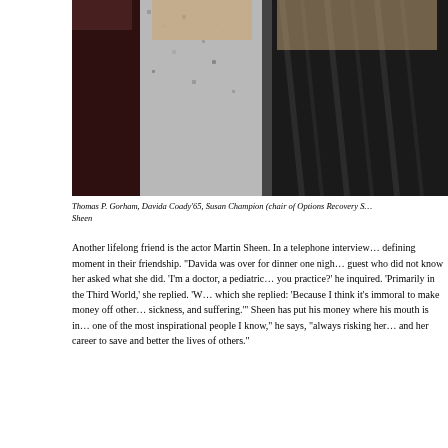[Figure (photo): Group photo of Thomas P. Gorham, Davida Coady '65, Susan Champion, and Martin Sheen at an event]
Thomas P. Gorham, Davida Coady’65, Susan Champion (chair of Options Recovery S… Sheen
Another lifelong friend is the actor Martin Sheen. In a telephone interview… defining moment in their friendship. “Davida was over for dinner one nigh… guest who did not know her asked what she did. ‘I’m a doctor, a pediatric… you practice?’ he inquired. ‘Primarily in the Third World,’ she replied. ‘W… which she replied: ‘Because I think it’s immoral to make money off other… sickness, and suffering.’” Sheen has put his money where his mouth is in… one of the most inspirational people I know,” he says, “always risking her… and her career to save and better the lives of others.”